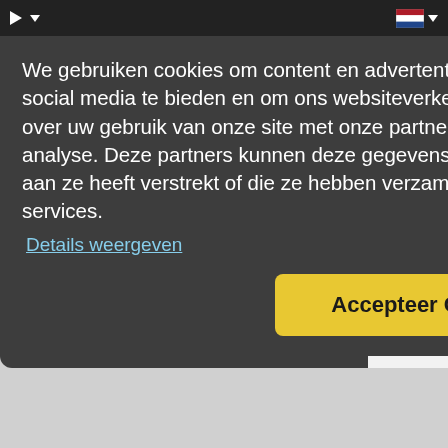[navigation bar with play button, dropdown, and Dutch flag language selector]
We gebruiken cookies om content en advertenties te personaliseren, om functies voor social media te bieden en om ons websiteverkeer te analyseren. Ook delen we informatie over uw gebruik van onze site met onze partners voor social media, adverteren en analyse. Deze partners kunnen deze gegevens combineren met andere informatie die u aan ze heeft verstrekt of die ze hebben verzameld op basis van uw gebruik van hun services.
Details weergeven
Accepteer Cookies!